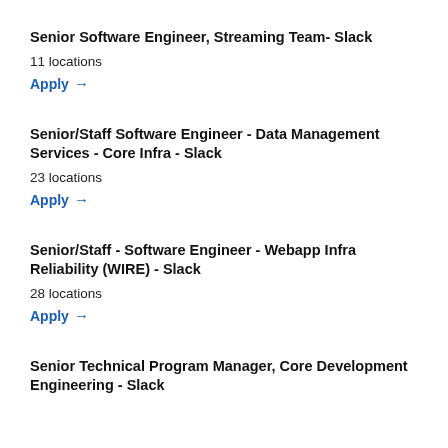Senior Software Engineer, Streaming Team- Slack
11 locations
Apply →
Senior/Staff Software Engineer - Data Management Services - Core Infra - Slack
23 locations
Apply →
Senior/Staff - Software Engineer - Webapp Infra Reliability (WIRE) - Slack
28 locations
Apply →
Senior Technical Program Manager, Core Development Engineering - Slack